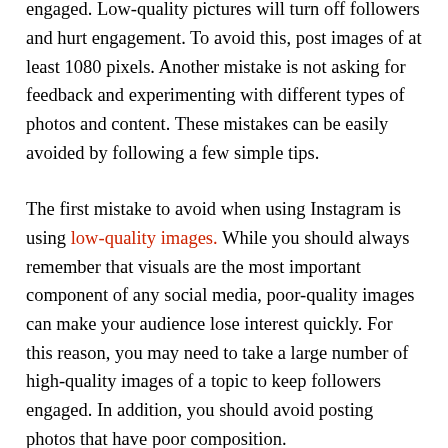promote a new product, it's imperative to upload high-resolution images to keep your followers engaged. Low-quality pictures will turn off followers and hurt engagement. To avoid this, post images of at least 1080 pixels. Another mistake is not asking for feedback and experimenting with different types of photos and content. These mistakes can be easily avoided by following a few simple tips.
The first mistake to avoid when using Instagram is using low-quality images. While you should always remember that visuals are the most important component of any social media, poor-quality images can make your audience lose interest quickly. For this reason, you may need to take a large number of high-quality images of a topic to keep followers engaged. In addition, you should avoid posting photos that have poor composition.
Lastly, you must take care of the security of your account. Insecure accounts can be banned or hacked, resulting in huge